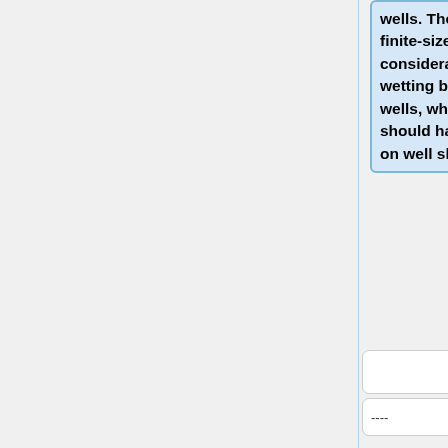wells. They suggest that finite-size effects have an considerable impact on the wetting behavior of nanoscale wells, which theory predicts should have only depended on well shape.
----
----
+
[1] I.M. Tidswell, T.A. Rabedeau, P.S. Pershan,
[1] I.M. Tidswell, T.A. Rabedeau, P.S. Pershan,